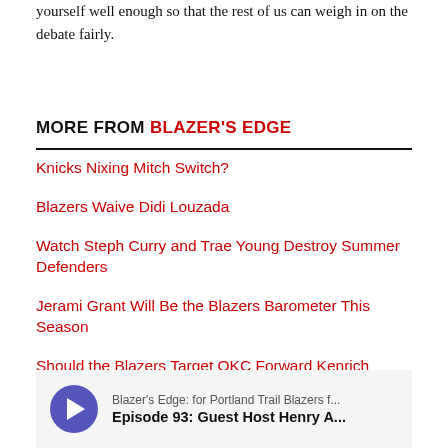yourself well enough so that the rest of us can weigh in on the debate fairly.
MORE FROM BLAZER'S EDGE
Knicks Nixing Mitch Switch?
Blazers Waive Didi Louzada
Watch Steph Curry and Trae Young Destroy Summer Defenders
Jerami Grant Will Be the Blazers Barometer This Season
Should the Blazers Target OKC Forward Kenrich Williams?
Blazers Picks Rise in 2018 NBA ‘Re-Draft’
[Figure (other): Podcast player bar showing Blazer's Edge podcast for Portland Trail Blazers fans, Episode 93: Guest Host Henry A...]